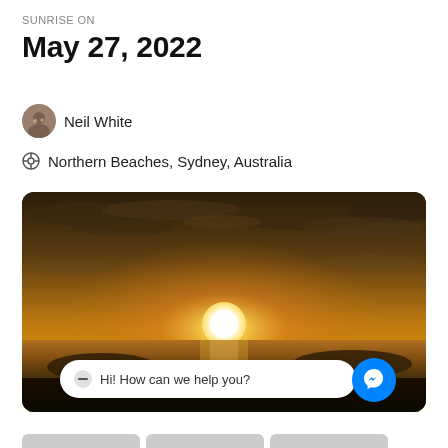SUNRISE ON
May 27, 2022
Neil White
Northern Beaches, Sydney, Australia
[Figure (photo): Sunrise photo over the ocean at Northern Beaches, Sydney, Australia. A golden sun rises above the horizon over the sea, with dramatic clouds in the sky and a silhouette of a person on the beach in the foreground. A chat overlay reads 'Hi! How can we help you?' with a Messenger button.]